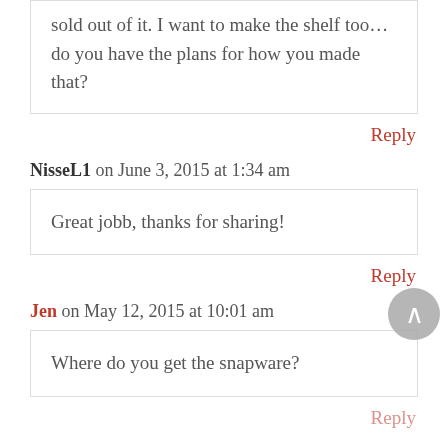sold out of it. I want to make the shelf too… do you have the plans for how you made that?
Reply
NisseL1 on June 3, 2015 at 1:34 am
Great jobb, thanks for sharing!
Reply
Jen on May 12, 2015 at 10:01 am
Where do you get the snapware?
Reply